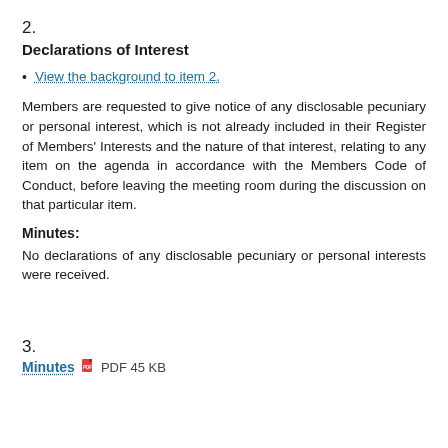2.
Declarations of Interest
View the background to item 2.
Members are requested to give notice of any disclosable pecuniary or personal interest, which is not already included in their Register of Members' Interests and the nature of that interest, relating to any item on the agenda in accordance with the Members Code of Conduct, before leaving the meeting room during the discussion on that particular item.
Minutes:
No declarations of any disclosable pecuniary or personal interests were received.
3.
Minutes  PDF 45 KB